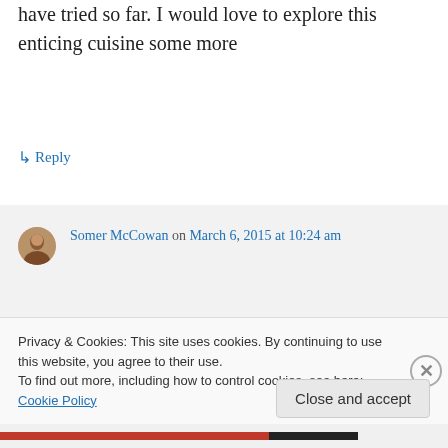have tried so far. I would love to explore this enticing cuisine some more
↳ Reply
Somer McCowan on March 6, 2015 at 10:24 am
Becca, I had never tried it before testing for Kittee! I'm amazed at how yummy everything is!
Privacy & Cookies: This site uses cookies. By continuing to use this website, you agree to their use.
To find out more, including how to control cookies, see here: Cookie Policy